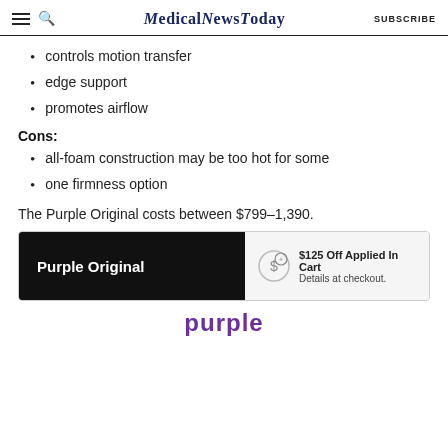MedicalNewsToday | SUBSCRIBE
controls motion transfer
edge support
promotes airflow
Cons:
all-foam construction may be too hot for some
one firmness option
The Purple Original costs between $799–1,390.
[Figure (other): Purple Original product advertisement banner: black background on left with white bold text 'Purple Original', right side light gray with discount icon and text '$125 Off Applied In Cart. Details at checkout.']
[Figure (logo): Purple brand logo in purple text]